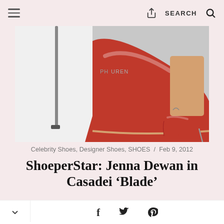≡  [share icon]  SEARCH  🔍
[Figure (photo): Close-up photo of red patent leather stiletto heels (Casadei Blade style) on a gray carpet, with a Ralph Lauren step-and-repeat banner visible in the background. A woman's legs in red pointed-toe pumps are visible on the right side.]
Celebrity Shoes, Designer Shoes, SHOES  /  Feb 9, 2012
ShoeperStar: Jenna Dewan in Casadei 'Blade'
✓  f  🐦  p
Shop PollyPark Today
Shop the Outfits. DRESSES Comfort & Performance Pollypark